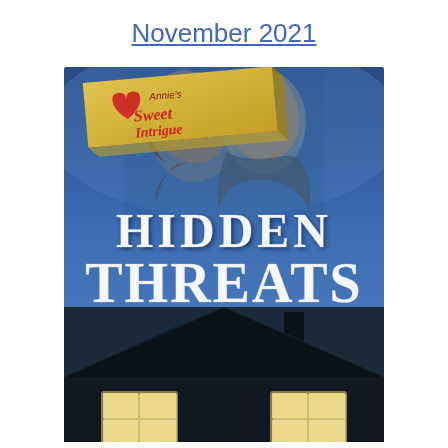November 2021
[Figure (illustration): Book cover for 'Hidden Threats' from Annie's Sweet Intrigue series. Features a romantic couple (woman and man facing each other closely) in the upper portion against a blue twilight sky. Large white stylized text reads 'HIDDEN THREATS'. Lower portion shows a dark silhouetted house roofline with two illuminated windows glowing warm yellow. A gold banner in the upper left corner shows the Annie's Sweet Intrigue heart logo and branding.]